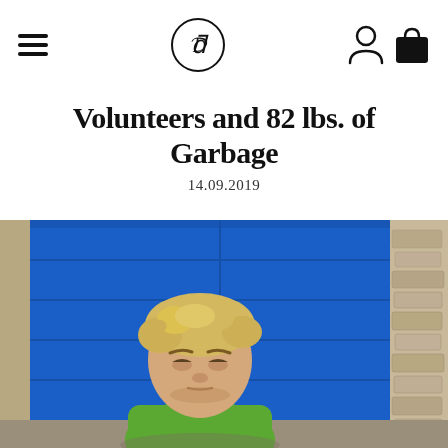Navigation header with hamburger menu, logo (D monogram in circle), user icon, and cart icon
Volunteers and 82 lbs. of Garbage
14.09.2019
[Figure (photo): A young blonde child wearing a green t-shirt, looking downward with a serious expression, standing in front of a bright blue painted wooden door/building, with stone wall visible to the right. Outdoor scene, daytime.]